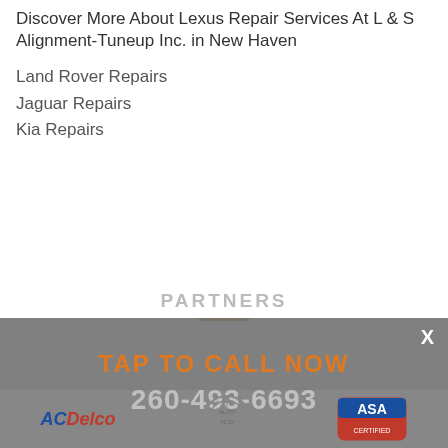Discover More About Lexus Repair Services At L & S Alignment-Tuneup Inc. in New Haven
Land Rover Repairs
Jaguar Repairs
Kia Repairs
PARTNERS
TAP TO CALL NOW
260-493-6693
[Figure (logo): ACDelco logo, partner brand logos including a circular emblem and ASA logo]